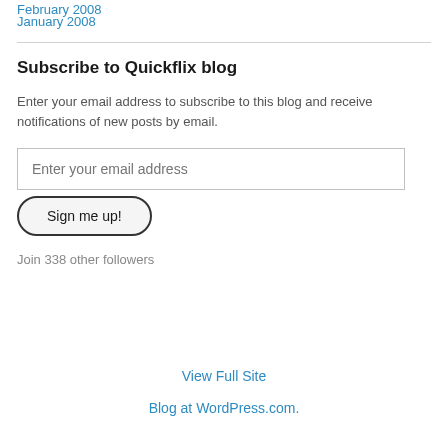February 2008
January 2008
Subscribe to Quickflix blog
Enter your email address to subscribe to this blog and receive notifications of new posts by email.
Enter your email address
Sign me up!
Join 338 other followers
View Full Site
Blog at WordPress.com.